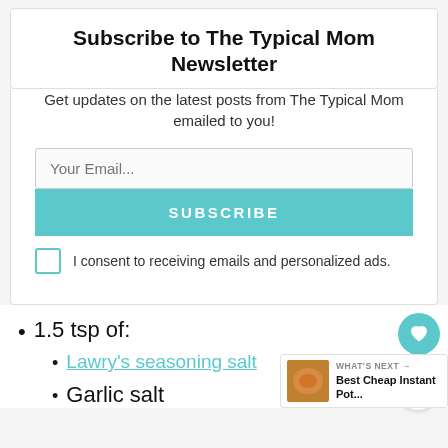Subscribe to The Typical Mom Newsletter
Get updates on the latest posts from The Typical Mom emailed to you!
Your Email...
SUBSCRIBE
I consent to receiving emails and personalized ads.
1.5 tsp of:
Lawry's seasoning salt
Garlic salt
[Figure (other): What's Next promotional box showing Best Cheap Instant Pot... with a food thumbnail image]
[Figure (other): Heart/favorite floating action button in teal]
[Figure (other): Share floating action button]